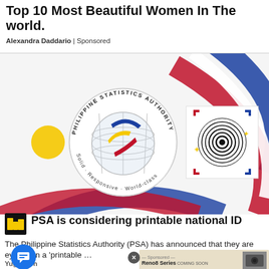Top 10 Most Beautiful Women In The world.
Alexandra Daddario | Sponsored
[Figure (illustration): Philippine Statistics Authority logo (circular seal with globe and arrows, text 'Solid · Responsive · World-class') alongside a fingerprint scanner icon with a spiral fingerprint pattern, on a background with red, white, and blue arc stripes (Philippine flag colors). A small yellow sun is visible on the left.]
[Figure (logo): Small square logo with yellow and dark design, resembling a 'M' letter mark]
PSA is considering printable national ID
The Philippine Statistics Authority (PSA) has announced that they are eyeing on a 'printable …
Yuga Tech